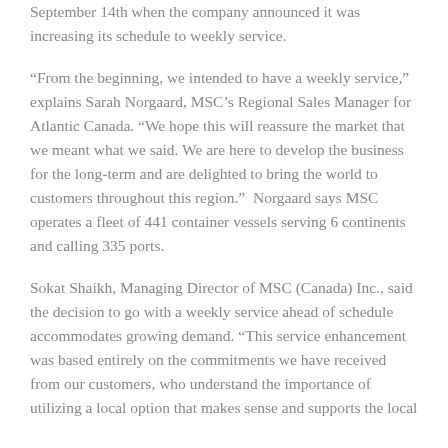September 14th when the company announced it was increasing its schedule to weekly service.
“From the beginning, we intended to have a weekly service,” explains Sarah Norgaard, MSC’s Regional Sales Manager for Atlantic Canada. “We hope this will reassure the market that we meant what we said. We are here to develop the business for the long-term and are delighted to bring the world to customers throughout this region.”  Norgaard says MSC operates a fleet of 441 container vessels serving 6 continents and calling 335 ports.
Sokat Shaikh, Managing Director of MSC (Canada) Inc., said the decision to go with a weekly service ahead of schedule accommodates growing demand. “This service enhancement was based entirely on the commitments we have received from our customers, who understand the importance of utilizing a local option that makes sense and supports the local